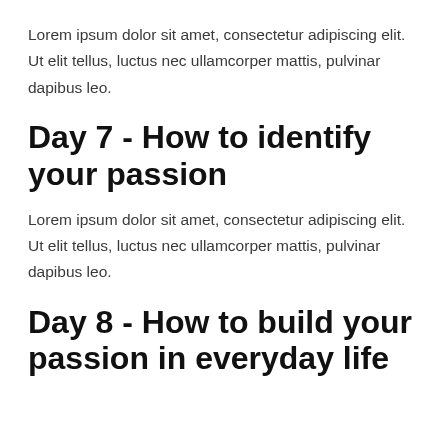Lorem ipsum dolor sit amet, consectetur adipiscing elit. Ut elit tellus, luctus nec ullamcorper mattis, pulvinar dapibus leo.
Day 7 - How to identify your passion
Lorem ipsum dolor sit amet, consectetur adipiscing elit. Ut elit tellus, luctus nec ullamcorper mattis, pulvinar dapibus leo.
Day 8 - How to build your passion in everyday life